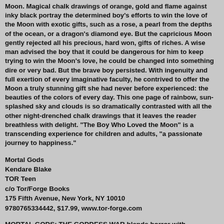Moon. Magical chalk drawings of orange, gold and flame against inky black portray the determined boy's efforts to win the love of the Moon with exotic gifts, such as a rose, a pearl from the depths of the ocean, or a dragon's diamond eye. But the capricious Moon gently rejected all his precious, hard won, gifts of riches. A wise man advised the boy that it could be dangerous for him to keep trying to win the Moon's love, he could be changed into something dire or very bad. But the brave boy persisted. With ingenuity and full exertion of every imaginative faculty, he contrived to offer the Moon a truly stunning gift she had never before experienced: the beauties of the colors of every day. This one page of rainbow, sun-splashed sky and clouds is so dramatically contrasted with all the other night-drenched chalk drawings that it leaves the reader breathless with delight. "The Boy Who Loved the Moon" is a transcending experience for children and adults, "a passionate journey to happiness."
Mortal Gods
Kendare Blake
TOR Teen
c/o Tor/Forge Books
175 Fifth Avenue, New York, NY 10010
9780765334442, $17.99, www.tor-forge.com
MORTAL GODS: THE GODDESS WAR blends horror with